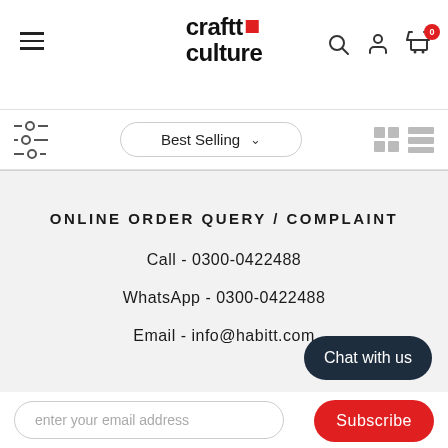craftt culture - header with navigation, search, user, cart icons
Best Selling (sort dropdown) with filter and view icons
ONLINE ORDER QUERY / COMPLAINT
Call - 0300-0422488
WhatsApp - 0300-0422488
Email - info@habitt.com
enter your email address
Chat with us
Subscribe